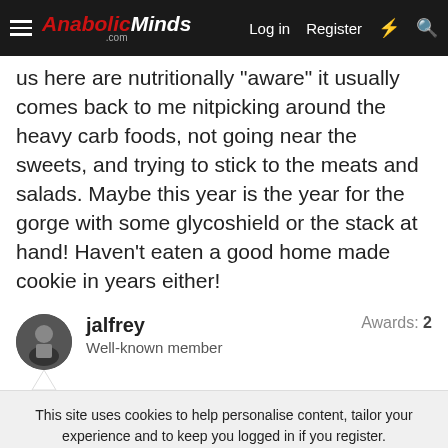AnabolicMinds.com — Log in | Register
us here are nutritionally "aware" it usually comes back to me nitpicking around the heavy carb foods, not going near the sweets, and trying to stick to the meats and salads. Maybe this year is the year for the gorge with some glycoshield or the stack at hand! Haven't eaten a good home made cookie in years either!
jalfrey — Well-known member — Awards: 2
This site uses cookies to help personalise content, tailor your experience and to keep you logged in if you register.
By continuing to use this site, you are consenting to our use of cookies.
Topic of the Week: The Single Best Supplement You've Taken